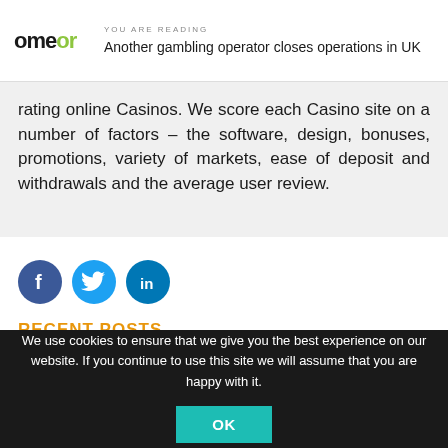YOU ARE READING / Another gambling operator closes operations in UK
rating online Casinos. We score each Casino site on a number of factors – the software, design, bonuses, promotions, variety of markets, ease of deposit and withdrawals and the average user review.
[Figure (illustration): Social media share icons: Facebook (dark blue circle with f), Twitter (blue circle with bird), LinkedIn (blue circle with in)]
RECENT POSTS
[Figure (photo): Thumbnail image for a recent post article]
We use cookies to ensure that we give you the best experience on our website. If you continue to use this site we will assume that you are happy with it.